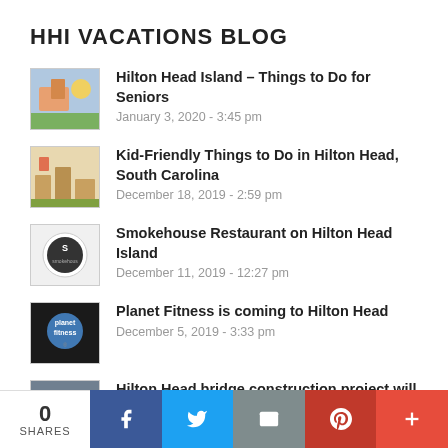HHI VACATIONS BLOG
Hilton Head Island – Things to Do for Seniors
January 3, 2020 - 3:45 pm
Kid-Friendly Things to Do in Hilton Head, South Carolina
December 18, 2019 - 2:59 pm
Smokehouse Restaurant on Hilton Head Island
December 11, 2019 - 12:27 pm
Planet Fitness is coming to Hilton Head
December 5, 2019 - 3:33 pm
Hilton Head bridge construction project will cost at least $6M
December 5, 2019 - 1:14 pm